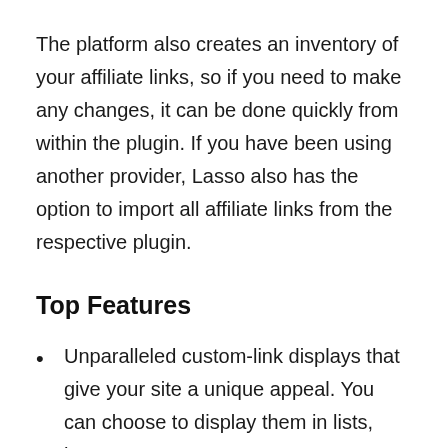The platform also creates an inventory of your affiliate links, so if you need to make any changes, it can be done quickly from within the plugin. If you have been using another provider, Lasso also has the option to import all affiliate links from the respective plugin.
Top Features
Unparalleled custom-link displays that give your site a unique appeal. You can choose to display them in lists, boxes, or